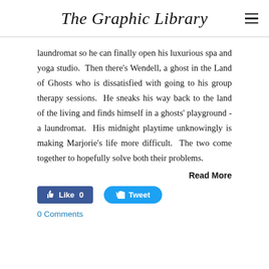The Graphic Library
laundromat so he can finally open his luxurious spa and yoga studio.  Then there's Wendell, a ghost in the Land of Ghosts who is dissatisfied with going to his group therapy sessions.  He sneaks his way back to the land of the living and finds himself in a ghosts' playground - a laundromat.  His midnight playtime unknowingly is making Marjorie's life more difficult.  The two come together to hopefully solve both their problems.
Read More
Like 0
Tweet
0 Comments